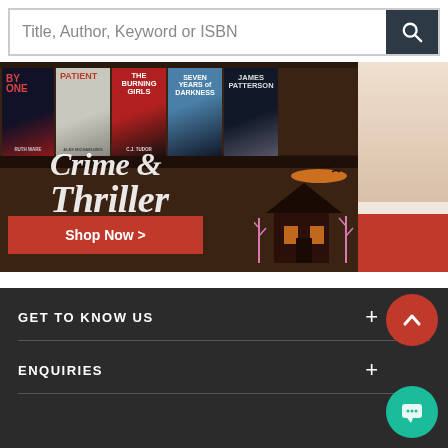Title, Author, Keyword or ISBN
[Figure (illustration): Crime & Thriller promotional banner showing book covers (By One - Ruth Ware, Patient - Alex Michaelides, The Burning Girls - C.J. Tudor, Seven Years of Darkness, James Patterson) on a dark wooden bookshelf background with Crime & Thriller text and a Shop Now button, plus a spooky house illustration]
GET TO KNOW US
ENQUIRIES